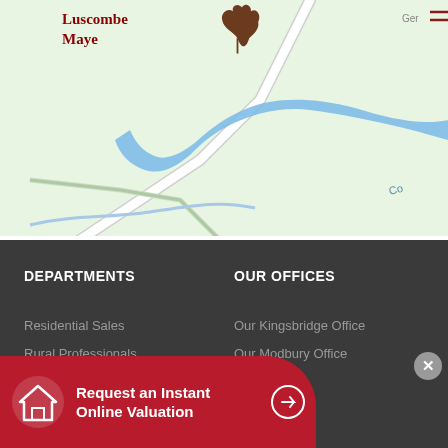[Figure (map): A Google Maps-style map showing roads and a river/water body (shown in blue) on a green background. The Luscombe Maye estate agent logo with a brown oak leaf is visible in the top-left corner of the map. A hamburger menu icon is in the top-right.]
DEPARTMENTS
OUR OFFICES
Residential Sales
Our Kingsbridge Office
Rural Professionals
Our Modbury Office
Request an Instant Online Valuation
ookies
earn how to disable them.